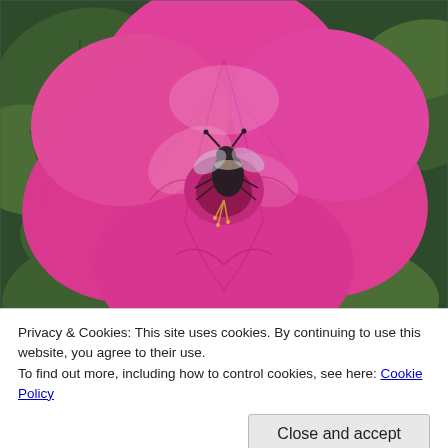[Figure (photo): Close-up photograph of a bright pink flower (azalea) with a bumblebee crawling inside the center of the bloom, surrounded by dark green leaves]
Privacy & Cookies: This site uses cookies. By continuing to use this website, you agree to their use.
To find out more, including how to control cookies, see here: Cookie Policy
Close and accept